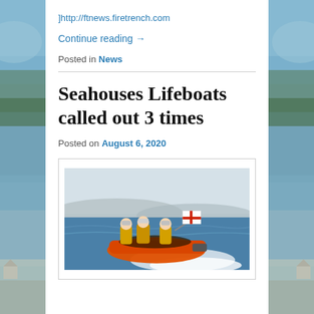]http://ftnews.firetrench.com
Continue reading →
Posted in News
Seahouses Lifeboats called out 3 times
Posted on August 6, 2020
[Figure (photo): Orange inflatable lifeboat with crew members in yellow gear speeding across choppy blue sea, with an RNLI flag visible, hills in background]